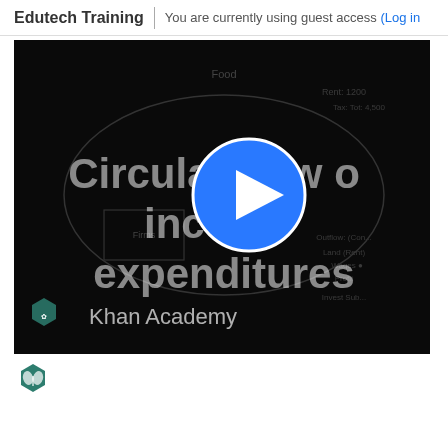Edutech Training | You are currently using guest access (Log in
[Figure (screenshot): Khan Academy video thumbnail showing 'Circular flow of income and expenditures' with a blue play button in the center on a dark background, Khan Academy logo visible at bottom left]
[Figure (logo): Khan Academy hexagonal leaf logo in teal/green color]